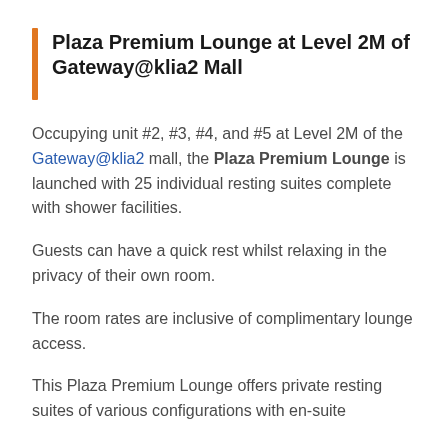Plaza Premium Lounge at Level 2M of Gateway@klia2 Mall
Occupying unit #2, #3, #4, and #5 at Level 2M of the Gateway@klia2 mall, the Plaza Premium Lounge is launched with 25 individual resting suites complete with shower facilities.
Guests can have a quick rest whilst relaxing in the privacy of their own room.
The room rates are inclusive of complimentary lounge access.
This Plaza Premium Lounge offers private resting suites of various configurations with en-suite